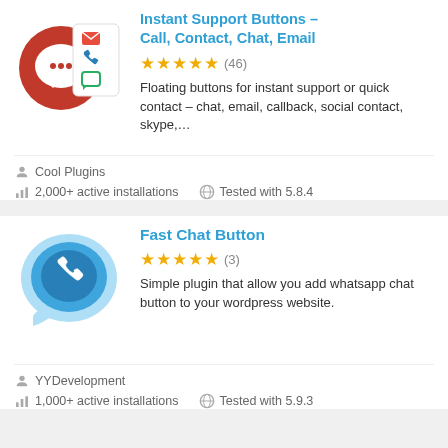[Figure (illustration): Instant Support Buttons plugin icon showing a red circle with chat bubble and a popup with email, phone, and chat icons]
Instant Support Buttons – Call, Contact, Chat, Email
★★★★★ (46)
Floating buttons for instant support or quick contact – chat, email, callback, social contact, skype,…
Cool Plugins
2,000+ active installations   Tested with 5.8.4
[Figure (illustration): Fast Chat Button plugin icon showing a blue WhatsApp-style chat bubble with a phone handset icon]
Fast Chat Button
★★★★★ (3)
Simple plugin that allow you add whatsapp chat button to your wordpress website.
YYDevelopment
1,000+ active installations   Tested with 5.9.3